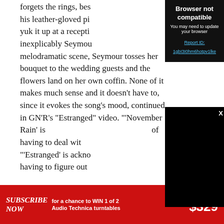forgets the rings, bes his leather-gloved pi yuk it up at a recepti inexplicably Seymou melodramatic scene, Seymour tosses her bouquet to the wedding guests and the flowers land on her own coffin. None of it makes much sense and it doesn't have to, since it evokes the song's mood, continued in GN'R's "Estranged" video. "'November Rain' is of having to deal wit "'Estranged' is ackno having to figure out
[Figure (screenshot): Browser not compatible overlay with text: 'Browser not compatible', 'You may need to update your browser', and a link 'Report ID: 1gbI3I0hm6hotpv1lke']
[Figure (screenshot): Black video player overlay with a close X button]
[Figure (infographic): Red subscribe banner: 'SUBSCRIBE NOW for a chance to WIN 1 of 2 Audio Technica turntables VALUED AT $329']